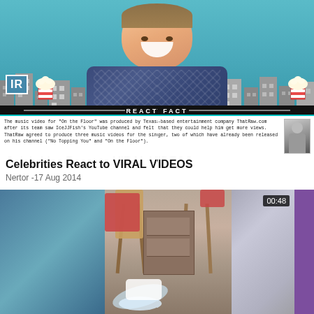[Figure (screenshot): Video thumbnail for 'Celebrities React to VIRAL VIDEOS' showing a smiling man in a blue plaid shirt against a teal cityscape background with popcorn decorations. A 'REACT FACT' bar at the bottom contains text about 'On the Floor' music video and ThatRaw.com.]
Celebrities React to VIRAL VIDEOS
Nertor -17 Aug 2014
[Figure (screenshot): Video thumbnail showing a split-screen view of what appears to be a water/liquid spill scene with furniture, duration badge showing 00:48, and a purple sidebar element.]